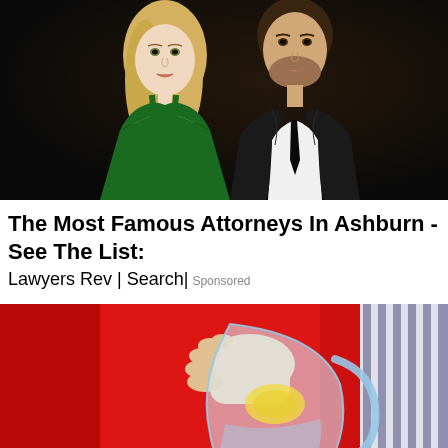[Figure (photo): A young blonde woman in a green dress posing with a man in a black suit and tie against a dark background]
The Most Famous Attorneys In Ashburn - See The List:
Lawyers Rev | Search | Sponsored
[Figure (photo): A person in red pouring water with lemon from a glass pitcher into a glass, with a striped sleeve visible on the right]